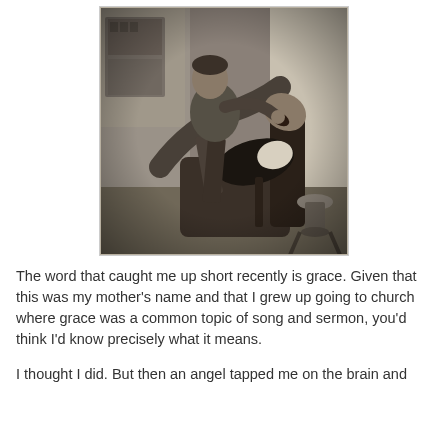[Figure (photo): Black and white historical photograph showing a dental scene: a patient reclined in a chair with mouth open, and a dentist standing over them performing a procedure. The scene appears to be from the late 19th or early 20th century.]
The word that caught me up short recently is grace. Given that this was my mother's name and that I grew up going to church where grace was a common topic of song and sermon, you'd think I'd know precisely what it means.
I thought I did. But then an angel tapped me on the brain and